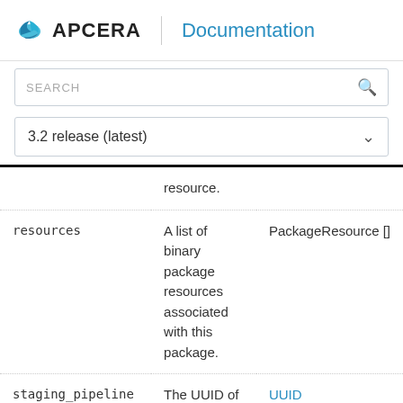APCERA Documentation
SEARCH
3.2 release (latest)
| Field | Description | Type |
| --- | --- | --- |
|  | resource. |  |
| resources | A list of binary package resources associated with this package. | PackageResource [] |
| staging_pipeline | The UUID of the staging... | UUID |